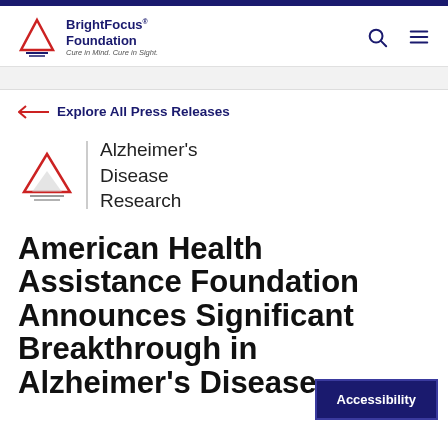BrightFocus Foundation — Cure in Mind. Cure in Sight.
← Explore All Press Releases
[Figure (logo): Alzheimer's Disease Research logo — red triangle outline above grey lines, vertical divider, text reading Alzheimer's Disease Research]
American Health Assistance Foundation Announces Significant Breakthrough in Alzheimer's Disease